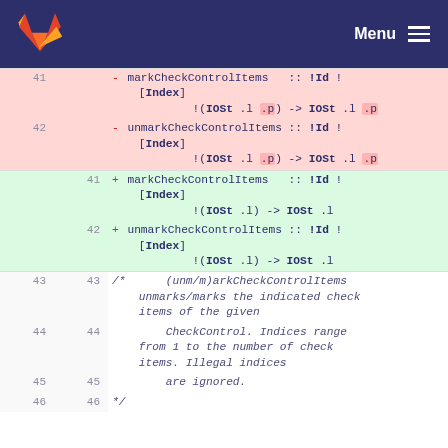Menu
41  - markCheckControlItems   :: !Id !
[Index]
            !(IOSt .l .p) -> IOSt .l .p
42  - unmarkCheckControlItems :: !Id !
[Index]
            !(IOSt .l .p) -> IOSt .l .p
    41 + markCheckControlItems   :: !Id !
[Index]
            !(IOSt .l) -> IOSt .l
    42 + unmarkCheckControlItems :: !Id !
[Index]
            !(IOSt .l) -> IOSt .l
43 43     /*      (unm/m)arkCheckControlItems unmarks/marks the indicated check items of the given
44 44          CheckControl. Indices range from 1 to the number of check items. Illegal indices
45 45          are ignored.
46 46     */